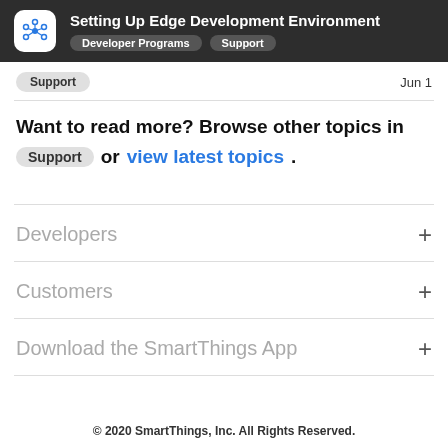Setting Up Edge Development Environment | Developer Programs | Support
Support   Jun 1
Want to read more? Browse other topics in Support or view latest topics.
Developers +
Customers +
Download the SmartThings App +
© 2020 SmartThings, Inc. All Rights Reserved.